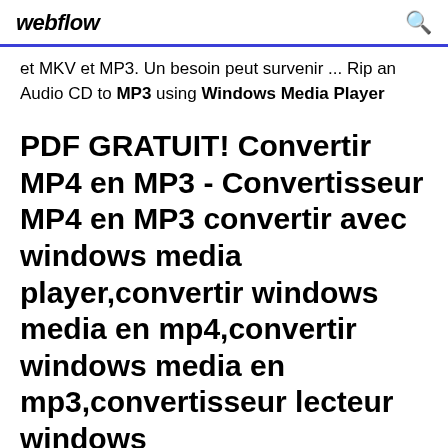webflow
et MKV et MP3. Un besoin peut survenir ... Rip an Audio CD to MP3 using Windows Media Player
PDF GRATUIT! Convertir MP4 en MP3 - Convertisseur MP4 en MP3 convertir avec windows media player,convertir windows media en mp4,convertir windows media en mp3,convertisseur lecteur windows media,convertisseur media player,convertir mp3 avec